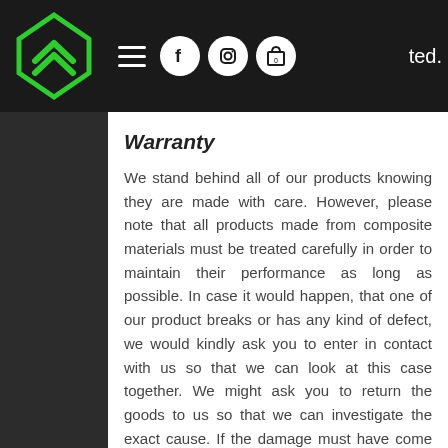[Figure (logo): Green diamond-shaped logo with overlapping arrow/chevron shapes on dark background navigation bar with hamburger menu, Facebook icon, Instagram icon, and shopping cart icon. Partial text 'ted.' visible at top right.]
Warranty
We stand behind all of our products knowing they are made with care. However, please note that all products made from composite materials must be treated carefully in order to maintain their performance as long as possible. In case it would happen, that one of our product breaks or has any kind of defect, we would kindly ask you to enter in contact with us so that we can look at this case together. We might ask you to return the goods to us so that we can investigate the exact cause. If the damage must have come from the user's negligence or misuse, then no warranty